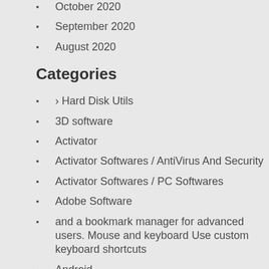October 2020
September 2020
August 2020
Categories
› Hard Disk Utils
3D software
Activator
Activator Softwares / AntiVirus And Security
Activator Softwares / PC Softwares
Adobe Software
and a bookmark manager for advanced users. Mouse and keyboard Use custom keyboard shortcuts
Android
Antivirus
Antivirus › Removal Tools
AntiVirus And Security